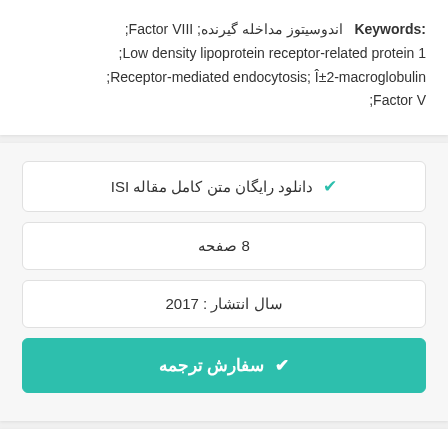Keywords: اندوسیتوز مداخله گیرنده; Factor VIII; Low density lipoprotein receptor-related protein 1; Receptor-mediated endocytosis; Î±2-macroglobulin; Factor V;
✔ دانلود رایگان متن کامل مقاله ISI
8 صفحه
سال انتشار : 2017
✔ سفارش ترجمه